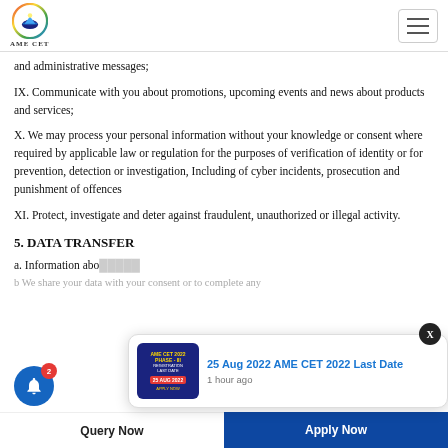AME CET
and administrative messages;
IX. Communicate with you about promotions, upcoming events and news about products and services;
X. We may process your personal information without your knowledge or consent where required by applicable law or regulation for the purposes of verification of identity or for prevention, detection or investigation, Including of cyber incidents, prosecution and punishment of offences
XI. Protect, investigate and deter against fraudulent, unauthorized or illegal activity.
5. DATA TRANSFER
a. Information about you is stored on our servers and we take due care...
b We share your data with your consent or to complete any
[Figure (infographic): AME CET 2022 Phase III Registration Last Date notification popup showing 25 Aug 2022 AME CET 2022 Last Date, 1 hour ago]
Query Now    Apply Now